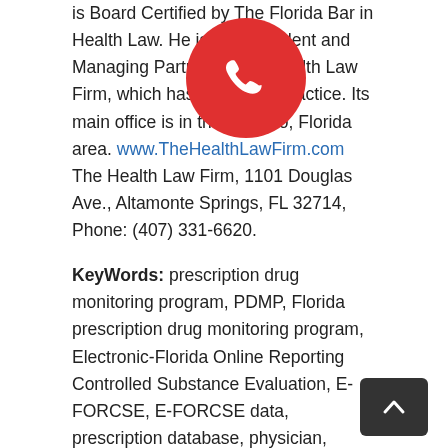is Board Certified by The Florida Bar in Health Law. He is the President and Managing Partner of The Health Law Firm, which has a national practice. Its main office is in the Orlando, Florida area. www.TheHealthLawFirm.com The Health Law Firm, 1101 Douglas Ave., Altamonte Springs, FL 32714, Phone: (407) 331-6620.
KeyWords: prescription drug monitoring program, PDMP, Florida prescription drug monitoring program, Electronic-Florida Online Reporting Controlled Substance Evaluation, E-FORCSE, E-FORCSE data, prescription database, physician, doctor, pharmacist, dentist, health care professional, health care provider, health care practitioner, Florida Legislature, prescriber, cases against licensed health care professionals, substandard performance, falling below the standard of care, professional negligence, criminal investigation, criminal investigation of a physician, prosecution of health care professional, prosecution of physician,
[Figure (other): Red circular phone/call button overlay in upper center of page]
[Figure (other): Dark scroll-to-top button with upward chevron arrow in lower right corner]